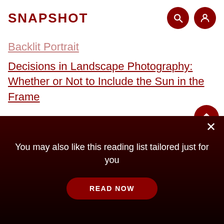SNAPSHOT
Backlit Portrait
Decisions in Landscape Photography: Whether or Not to Include the Sun in the Frame
Receive the latest update on photography news, tips and tricks
You may also like this reading list tailored just for you
READ NOW